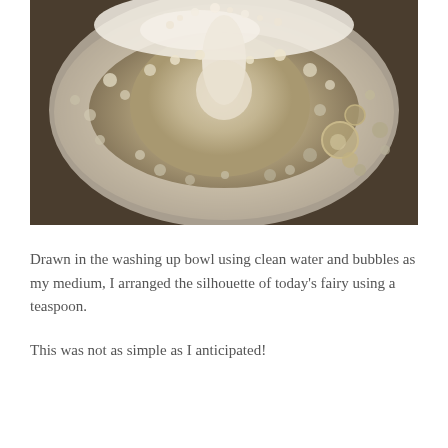[Figure (photo): Close-up photograph of a washing up bowl filled with soapy water and bubbles. The bubbles are arranged in a roughly oval/circular pattern, with the clear center water area and foam around the edges. The bowl appears metallic or dark-colored. A faint silhouette shape (fairy) can be seen formed by the bubble arrangement.]
Drawn in the washing up bowl using clean water and bubbles as my medium, I arranged the silhouette of today's fairy using a teaspoon.
This was not as simple as I anticipated!